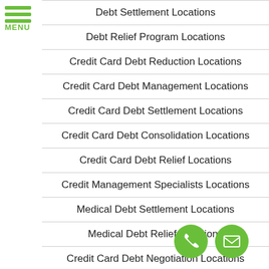MENU
Debt Settlement Locations
Debt Relief Program Locations
Credit Card Debt Reduction Locations
Credit Card Debt Management Locations
Credit Card Debt Settlement Locations
Credit Card Debt Consolidation Locations
Credit Card Debt Relief Locations
Credit Management Specialists Locations
Medical Debt Settlement Locations
Medical Debt Relief Locations
Credit Card Debt Negotiation Locations
Debt Negotiation Locations
Privacy Policy